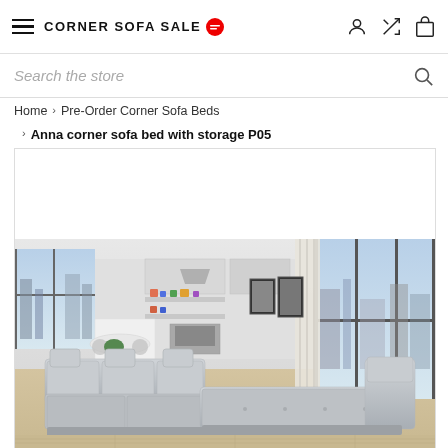CORNER SOFA SALE
Search the store
Home > Pre-Order Corner Sofa Beds > Anna corner sofa bed with storage P05
[Figure (photo): Anna corner sofa bed with storage P05 in a modern open-plan living room with large windows and city views. The sofa is light grey/silver fabric, L-shaped with adjustable headrests. Background shows a modern kitchen and dining area.]